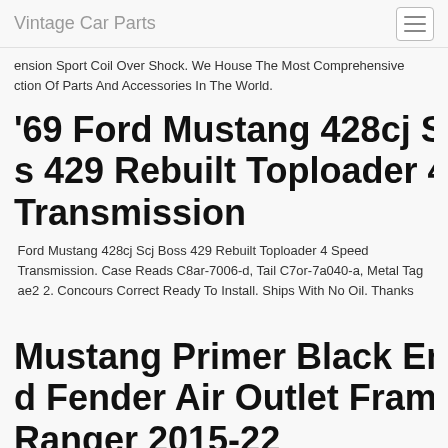Vintage Car Parts
ension Sport Coil Over Shock. We House The Most Comprehensive ction Of Parts And Accessories In The World.
69 Ford Mustang 428cj Scj Boss 429 Rebuilt Toploader 4 Speed Transmission
Ford Mustang 428cj Scj Boss 429 Rebuilt Toploader 4 Speed Transmission. Case Reads C8ar-7006-d, Tail C7or-7a040-a, Metal Tag ae2 2. Concours Correct Ready To Install. Ships With No Oil. Thanks
Mustang Primer Black Engine Hood Fender Air Outlet Frame For Ford Ranger 2015-22